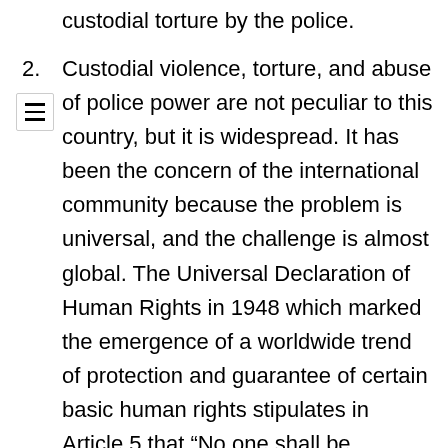custodial torture by the police.
2. Custodial violence, torture, and abuse of police power are not peculiar to this country, but it is widespread. It has been the concern of the international community because the problem is universal, and the challenge is almost global. The Universal Declaration of Human Rights in 1948 which marked the emergence of a worldwide trend of protection and guarantee of certain basic human rights stipulates in Article 5 that “No one shall be subjected to torture or to cruel, inhuman or degrading treatment or